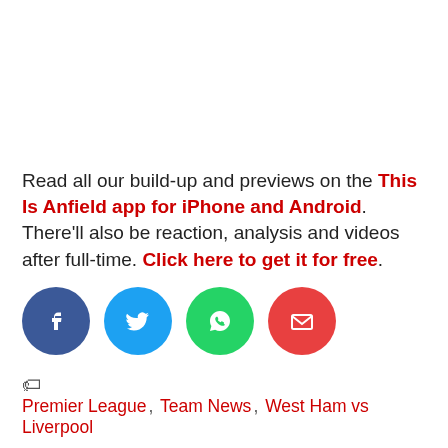Read all our build-up and previews on the This Is Anfield app for iPhone and Android. There'll also be reaction, analysis and videos after full-time. Click here to get it for free.
[Figure (infographic): Four circular social share buttons: Facebook (dark blue), Twitter (light blue), WhatsApp (green), Email (red)]
Premier League, Team News, West Ham vs Liverpool